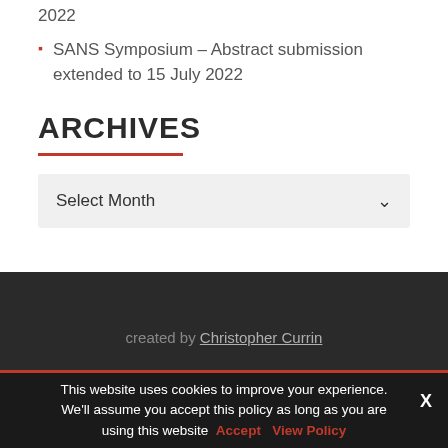2022
SANS Symposium – Abstract submission extended to 15 July 2022
ARCHIVES
Select Month
created by Christopher Currin
This website uses cookies to improve your experience. We'll assume you accept this policy as long as you are using this website  Accept  View Policy